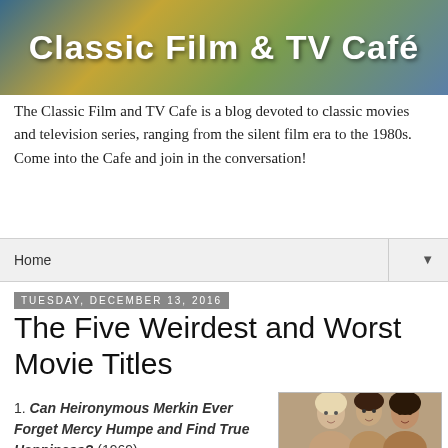[Figure (photo): Classic Film & TV Café banner logo with colorful painted background]
The Classic Film and TV Cafe is a blog devoted to classic movies and television series, ranging from the silent film era to the 1980s. Come into the Cafe and join in the conversation!
Home ▼
Tuesday, December 13, 2016
The Five Weirdest and Worst Movie Titles
1. Can Heironymous Merkin Ever Forget Mercy Humpe and Find True Happiness? (1969) - Anthony Newley co-wrote
[Figure (photo): Black and white photo of three people, likely from the 1969 film]